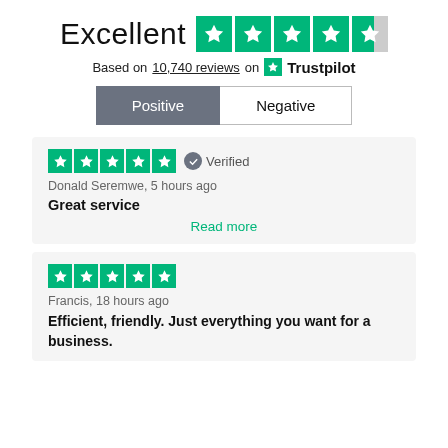Excellent
Based on 10,740 reviews on Trustpilot
Positive | Negative
[Figure (infographic): 5-star Trustpilot rating stars (green) for first review]
Verified
Donald Seremwe, 5 hours ago
Great service
Read more
[Figure (infographic): 5-star Trustpilot rating stars (green) for second review]
Francis, 18 hours ago
Efficient, friendly. Just everything you want for a business.